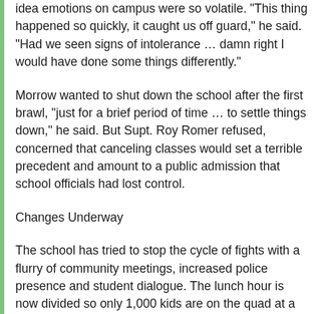idea emotions on campus were so volatile. "This thing happened so quickly, it caught us off guard," he said. "Had we seen signs of intolerance … damn right I would have done some things differently."
Morrow wanted to shut down the school after the first brawl, "just for a brief period of time … to settle things down," he said. But Supt. Roy Romer refused, concerned that canceling classes would set a terrible precedent and amount to a public admission that school officials had lost control.
Changes Underway
The school has tried to stop the cycle of fights with a flurry of community meetings, increased police presence and student dialogue. The lunch hour is now divided so only 1,000 kids are on the quad at a time. New security cameras will be installed and